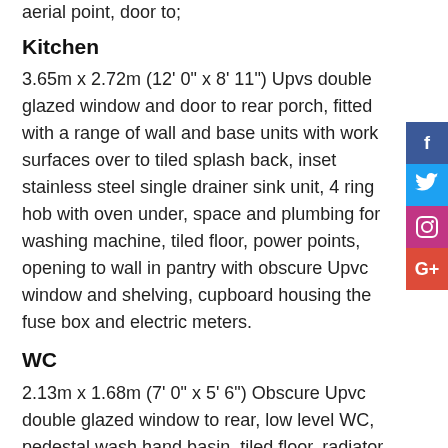aerial point, door to;
Kitchen
3.65m x 2.72m (12' 0" x 8' 11") Upvs double glazed window and door to rear porch, fitted with a range of wall and base units with work surfaces over to tiled splash back, inset stainless steel single drainer sink unit, 4 ring hob with oven under, space and plumbing for washing machine, tiled floor, power points, opening to wall in pantry with obscure Upvc window and shelving, cupboard housing the fuse box and electric meters.
WC
2.13m x 1.68m (7' 0" x 5' 6") Obscure Upvc double glazed window to rear, low level WC, pedestal wash hand basin, tiled floor, radiator, down lights, extractor fan.
Rear Porch/Utility